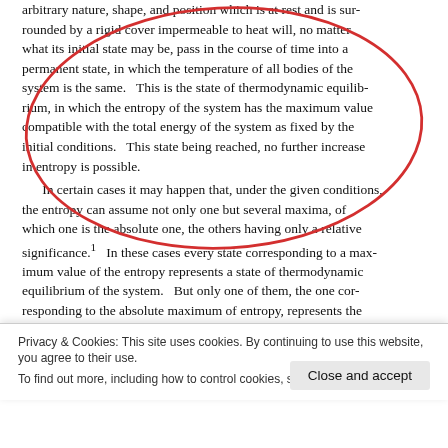arbitrary nature, shape, and position which is at rest and is surrounded by a rigid cover impermeable to heat will, no matter what its initial state may be, pass in the course of time into a permanent state, in which the temperature of all bodies of the system is the same. This is the state of thermodynamic equilibrium, in which the entropy of the system has the maximum value compatible with the total energy of the system as fixed by the initial conditions. This state being reached, no further increase in entropy is possible.
In certain cases it may happen that, under the given conditions, the entropy can assume not only one but several maxima, of which one is the absolute one, the others having only a relative significance.¹ In these cases every state corresponding to a maximum value of the entropy represents a state of thermodynamic equilibrium of the system. But only one of them, the one corresponding to the absolute maximum of entropy, represents the absolutely stable equilibrium. All the others are in a certain sense unstable, inasmuch as a suitable, however small, disturbance may produce in the system a permanent change in the
Privacy & Cookies: This site uses cookies. By continuing to use this website, you agree to their use.
To find out more, including how to control cookies, see here: Cookie Policy
Close and accept